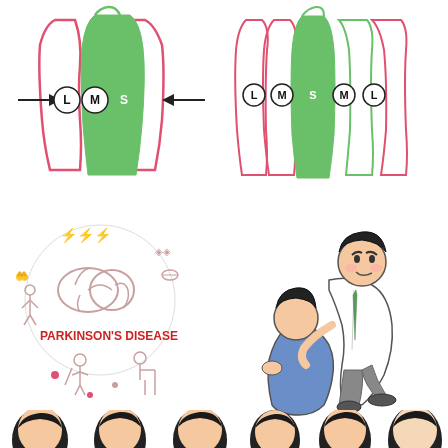[Figure (illustration): Clothing size illustration showing three swimsuit/garment outlines in pink/red with a green filled one in center labeled S, flanked by L and M labels with arrows pointing inward]
[Figure (illustration): Clothing size illustration showing garment outlines with labels L, M, S, M, L from left to right, alternating pink and green outlines]
[Figure (illustration): Parkinson's Disease infographic with circular arrangement of medical icons, a brain illustration, and text PARKINSON'S DISEASE in red]
[Figure (illustration): Cartoon illustration of a person in white shirt comforting/supporting another hunched-over person]
[Figure (illustration): Row of cartoon head silhouettes of people with black hair, partially visible at bottom of page]